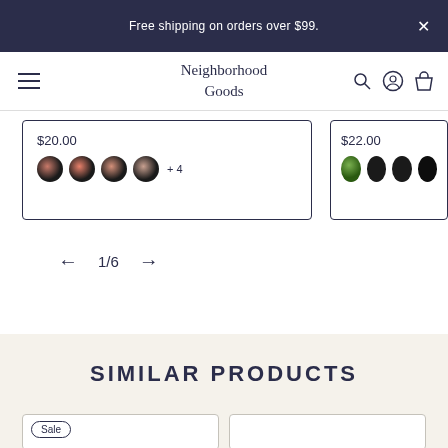Free shipping on orders over $99.
Neighborhood Goods
$20.00
$22.00
← 1/6 →
SIMILAR PRODUCTS
Sale